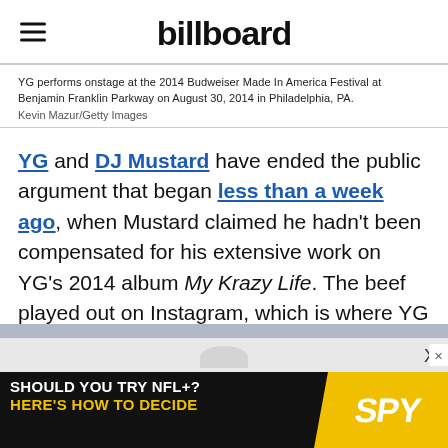billboard
YG performs onstage at the 2014 Budweiser Made In America Festival at Benjamin Franklin Parkway on August 30, 2014 in Philadelphia, PA.
Kevin Mazur/Getty Images
YG and DJ Mustard have ended the public argument that began less than a week ago, when Mustard claimed he hadn't been compensated for his extensive work on YG's 2014 album My Krazy Life. The beef played out on Instagram, which is where YG squashed it on Thursday (Jan. 1).
[Figure (screenshot): Advertisement banner: 'SHOULD YOU TRY NFL+? HERE'S HOW TO DECIDE' with SPY logo on yellow background]